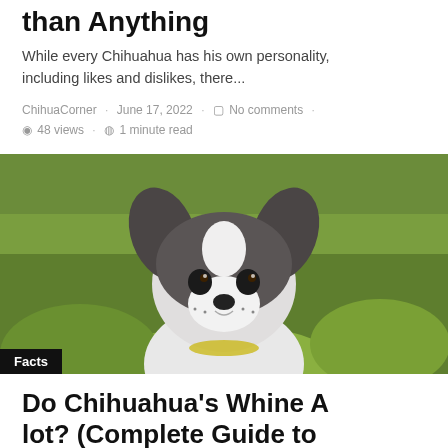than Anything
While every Chihuahua has his own personality, including likes and dislikes, there...
ChihuaCorner · June 17, 2022 · No comments · 48 views · 1 minute read
[Figure (photo): Close-up photo of a small black and white Chihuahua puppy with large ears, looking at camera, green blurred background. 'Facts' badge overlaid at bottom left.]
Do Chihuahua's Whine A lot? (Complete Guide to